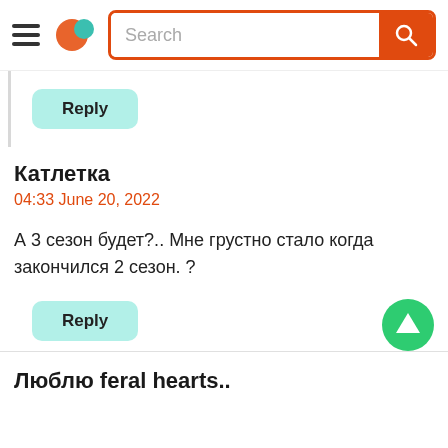[Figure (screenshot): App header with hamburger menu, logo, and search bar with orange border and orange search button]
Reply
Катлетка
04:33 June 20, 2022
А 3 сезон будет?.. Мне грустно стало когда закончился 2 сезон. ?
Reply
Люблю feral hearts..